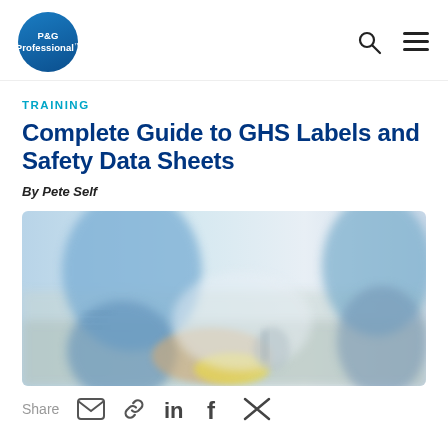P&G Professional (logo) with search and menu icons
TRAINING
Complete Guide to GHS Labels and Safety Data Sheets
By Pete Self
[Figure (photo): Blurred photo of a person in blue shirt wearing yellow rubber gloves cleaning a surface, with another person visible in the background]
Share